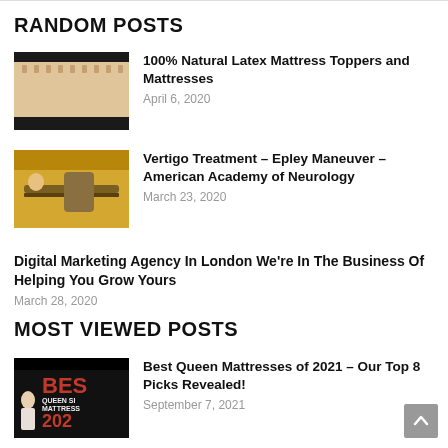RANDOM POSTS
100% Natural Latex Mattress Toppers and Mattresses
April 6, 2020
Vertigo Treatment – Epley Maneuver – American Academy of Neurology
March 23, 2020
Digital Marketing Agency In London We're In The Business Of Helping You Grow Yours
March 28, 2020
MOST VIEWED POSTS
Best Queen Mattresses of 2021 – Our Top 8 Picks Revealed!
September 7, 2021